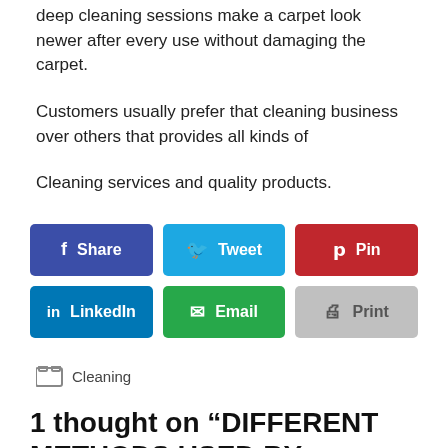deep cleaning sessions make a carpet look newer after every use without damaging the carpet.
Customers usually prefer that cleaning business over others that provides all kinds of
Cleaning services and quality products.
[Figure (other): Social sharing buttons: Share (Facebook), Tweet (Twitter), Pin (Pinterest), LinkedIn, Email, Print]
Cleaning
1 thought on “DIFFERENT METHODS USED BY CARPET